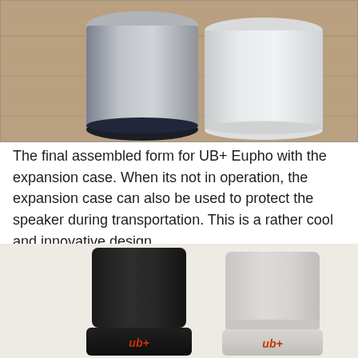[Figure (photo): Two cylindrical speaker cases on a wooden surface — one dark (left) with a navy blue base ring, one translucent/white (right). Both are shown without the speaker base, just the protective expansion case covers.]
The final assembled form for UB+ Eupho with the expansion case. When its not in operation, the expansion case can also be used to protect the speaker during transportation. This is a rather cool and innovative design.
[Figure (photo): Two UB+ Eupho speakers shown side by side — one in black (left) and one in white/grey (right). Both show the assembled speaker with expansion case attached, with the ub+ logo visible on the base in red.]